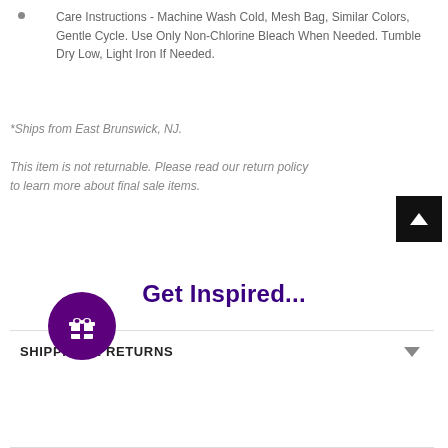Care Instructions - Machine Wash Cold, Mesh Bag, Similar Colors, Gentle Cycle. Use Only Non-Chlorine Bleach When Needed. Tumble Dry Low, Light Iron If Needed.
*Ships from East Brunswick, NJ.
This item is not returnable. Please read our return policy to learn more about final sale items.
Get Inspired...
SHIPPING & RETURNS